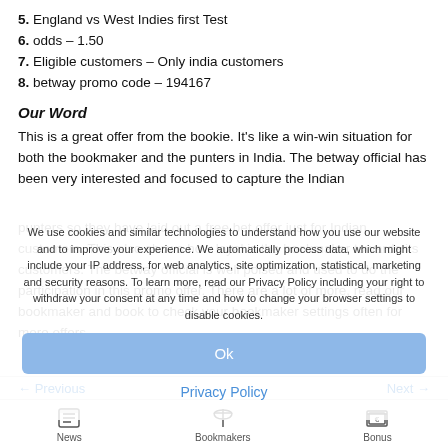5. England vs West Indies first Test
6. odds – 1.50
7. Eligible customers – Only india customers
8. betway promo code – 194167
Our Word
This is a great offer from the bookie. It's like a win-win situation for both the bookmaker and the punters in India. The betway official has been very interested and focused to capture the Indian punters so they have laid out a free bet offer just for Indian customers. This also shows how loyal is the bookmaker towards its customers. The betway official is well poised and used to do the participation in this promo offer. There are a lot of more, read our bookmaker and book to check your bookmaker settings often for more offers.
We use cookies and similar technologies to understand how you use our website and to improve your experience. We automatically process data, which might include your IP address, for web analytics, site optimization, statistical, marketing and security reasons. To learn more, read our Privacy Policy including your right to withdraw your consent at any time and how to change your browser settings to disable cookies.
Ok
Privacy Policy
← Previous
Next →
[Figure (other): Bottom navigation bar with icons: News (newspaper icon), Bookmakers (scales icon), Bonus (money/euro icon)]